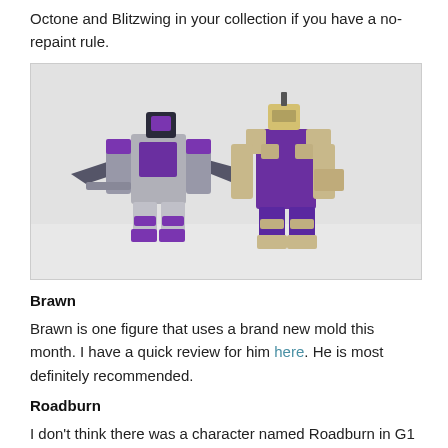Octone and Blitzwing in your collection if you have a no-repaint rule.
[Figure (photo): Two Transformers action figures in robot mode standing side by side against a white background. The left figure is predominantly grey and purple (Blitzwing), and the right figure is predominantly purple and tan/beige (Octone).]
Brawn
Brawn is one figure that uses a brand new mold this month. I have a quick review for him here. He is most definitely recommended.
Roadburn
I don't think there was a character named Roadburn in G1 (though it won't surprise me if I'm wrong on this). Instead, I think this character is